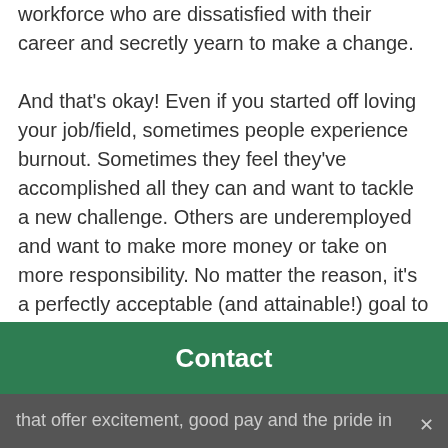workforce who are dissatisfied with their career and secretly yearn to make a change.

And that's okay! Even if you started off loving your job/field, sometimes people experience burnout. Sometimes they feel they've accomplished all they can and want to tackle a new challenge. Others are underemployed and want to make more money or take on more responsibility. No matter the reason, it's a perfectly acceptable (and attainable!) goal to want to change careers. If you have the time, resources and finances to make that happen, don't you owe it to yourself to pursue your dreams?
Contact
that offer excitement, good pay and the pride in